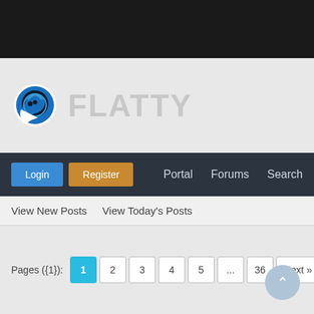[Figure (logo): Flatty forum logo with chat bubble icon and text FLATTY]
Login  Register  Portal  Forums  Search
View New Posts   View Today's Posts
Pages ({1}):  1  2  3  4  5  ...  36  Next »